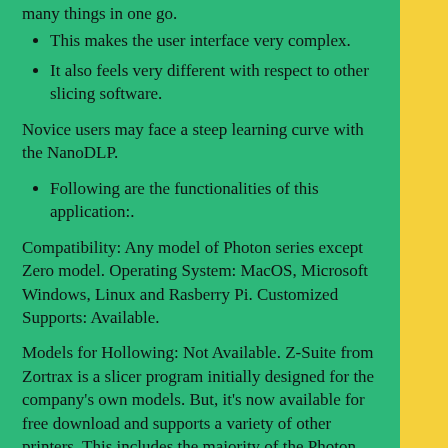many things in one go.
This makes the user interface very complex.
It also feels very different with respect to other slicing software.
Novice users may face a steep learning curve with the NanoDLP.
Following are the functionalities of this application:.
Compatibility: Any model of Photon series except Zero model. Operating System: MacOS, Microsoft Windows, Linux and Rasberry Pi. Customized Supports: Available.
Models for Hollowing: Not Available. Z-Suite from Zortrax is a slicer program initially designed for the company’s own models. But, it’s now available for free download and supports a variety of other printers. This includes the majority of the Photon series. This program comes with a lot of essential features and user UI. It’s easy to use and contains automatically created supports that one can alter.